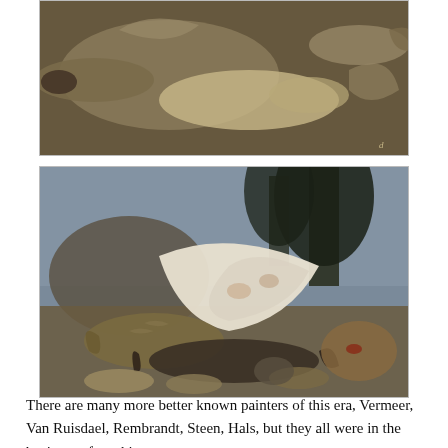[Figure (photo): Oil painting of multiple fish — sturgeons and other species — arranged on a surface, painted in dark earthy tones. Partial view, cropped at top.]
[Figure (photo): Oil painting of a large ray (skate) and various fish including carp, salmon, and smaller fish arranged on a shoreline with dark trees in the background.]
There are many more better known painters of this era, Vermeer, Van Ruisdael, Rembrandt, Steen, Hals, but they all were in the business of teaching or